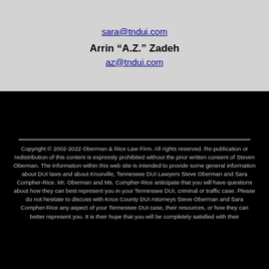sara@tndui.com
Arrin “A.Z.” Zadeh
az@tndui.com
Copyright © 2002-2022 Oberman & Rice Law Firm. All rights reserved. Re-publication or redistribution of this content is expressly prohibited without the prior written consent of Steven Oberman. The information within this web site is intended to provide some general information about DUI laws and about Knoxville, Tennessee DUI Lawyers Steve Oberman and Sara Compher-Rice. Mr. Oberman and Ms. Compher-Rice anticipate that you will have questions about how they can best represent you in your Tennessee DUI, criminal or traffic case. Please do not hesitate to discuss with Knox County DUI Attorneys Steve Oberman and Sara Compher-Rice any aspect of your Tennessee DUI case, their resources, or how they can better represent you. It is their hope that you will be completely satisfied with their